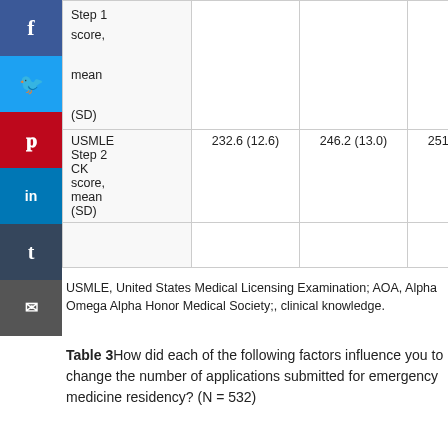|  | Col1 | Col2 | Col3 |
| --- | --- | --- | --- |
| Step 1 score, mean (SD) |  |  |  |
| USMLE Step 2 CK score, mean (SD) | 232.6 (12.6) | 246.2 (13.0) | 251.9 (16.9) |
|  |  |  |  |
USMLE, United States Medical Licensing Examination; AOA, Alpha Omega Alpha Honor Medical Society;, clinical knowledge.
Table 3How did each of the following factors influence you to change the number of applications submitted for emergency medicine residency? (N = 532)